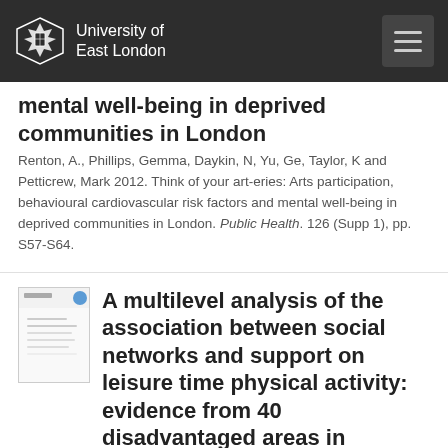University of East London
mental well-being in deprived communities in London
Renton, A., Phillips, Gemma, Daykin, N, Yu, Ge, Taylor, K and Petticrew, Mark 2012. Think of your art-eries: Arts participation, behavioural cardiovascular risk factors and mental well-being in deprived communities in London. Public Health. 126 (Supp 1), pp. S57-S64.
[Figure (other): Thumbnail image of a document/paper cover with small text and a blue icon in the top right corner]
A multilevel analysis of the association between social networks and support on leisure time physical activity: evidence from 40 disadvantaged areas in London